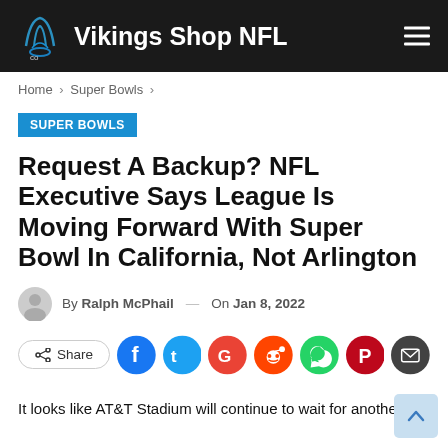Vikings Shop NFL
Home > Super Bowls >
SUPER BOWLS
Request A Backup? NFL Executive Says League Is Moving Forward With Super Bowl In California, Not Arlington
By Ralph McPhail — On Jan 8, 2022
Share
It looks like AT&T Stadium will continue to wait for another